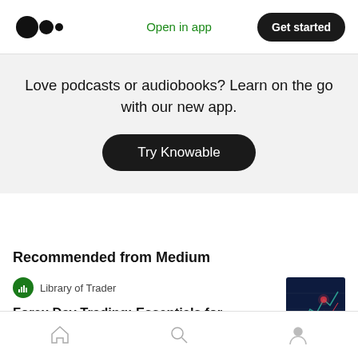Medium logo | Open in app | Get started
Love podcasts or audiobooks? Learn on the go with our new app.
Try Knowable
Recommended from Medium
Library of Trader
Forex Day Trading: Essentials for Beginners
Home | Search | Profile